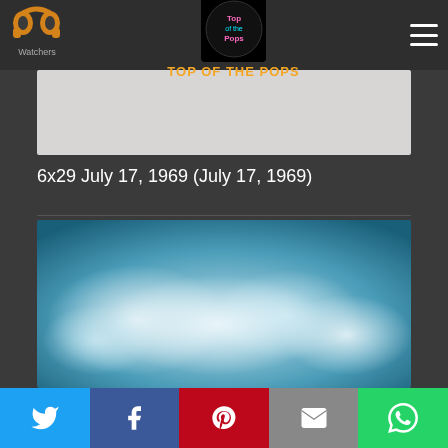PP Watchers — TOP OF THE POPS
[Figure (photo): Light gray placeholder image for the episode thumbnail]
6x29 July 17, 1969 (July 17, 1969)
[Figure (photo): Blurred teal and white abstract background image, episode cover art]
Twitter | Facebook | Pinterest | Email | WhatsApp share buttons